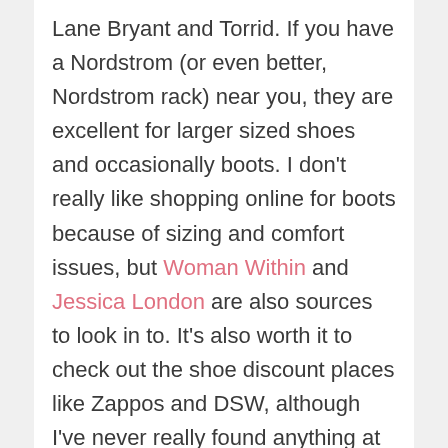Lane Bryant and Torrid. If you have a Nordstrom (or even better, Nordstrom rack) near you, they are excellent for larger sized shoes and occasionally boots. I don't really like shopping online for boots because of sizing and comfort issues, but Woman Within and Jessica London are also sources to look in to. It's also worth it to check out the shoe discount places like Zappos and DSW, although I've never really found anything at DSW.